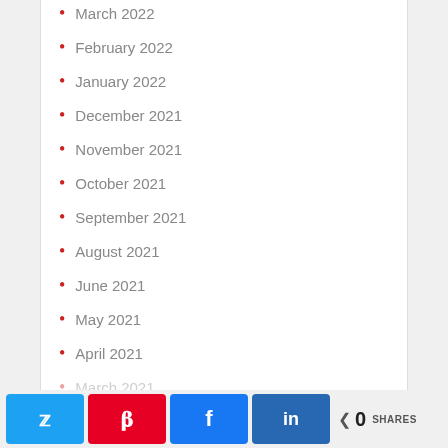March 2022
February 2022
January 2022
December 2021
November 2021
October 2021
September 2021
August 2021
June 2021
May 2021
April 2021
March 2021
0 SHARES